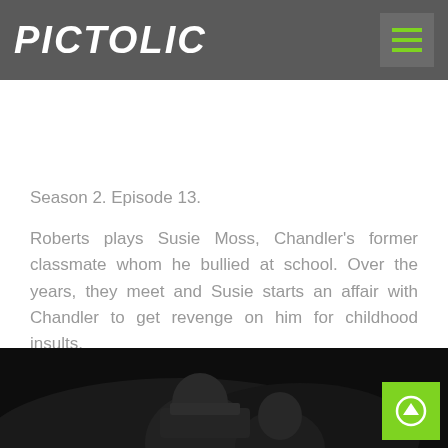PICTOLIC
Season 2. Episode 13.
Roberts plays Susie Moss, Chandler's former classmate whom he bullied at school. Over the years, they meet and Susie starts an affair with Chandler to get revenge on him for childhood insults.
[Figure (photo): Dark photo showing people in a dim setting, partially visible at bottom of page.]